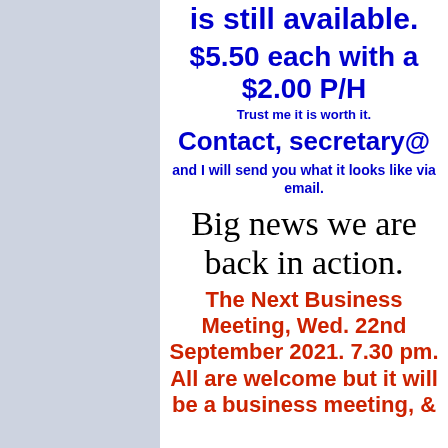is still available.
$5.50 each with a $2.00 P/H
Trust me it is worth it.
Contact,  secretary@
and I will send you what it looks like via email.
Big news we are back in action.
The Next Business Meeting, Wed. 22nd September 2021.  7.30 pm.  All are welcome but it will be a business meeting, &